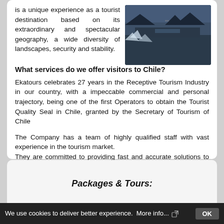is a unique experience as a tourist destination based on its extraordinary and spectacular geography, a wide diversity of landscapes, security and stability.
[Figure (photo): Aerial or waterfront photo of a Chilean city with snow/ice and mountains in background, dark blue-grey tones]
What services do we offer visitors to Chile?
Ekatours celebrates 27 years in the Receptive Tourism Industry in our country, with a impeccable commercial and personal trajectory, being one of the first Operators to obtain the Tourist Quality Seal in Chile, granted by the Secretary of Tourism of Chile
The Company has a team of highly qualified staff with vast experience in the tourism market.
They are committed to providing fast and accurate solutions to the requirements of all their customers.
Packages & Tours:
We use cookies to deliver better experience.  More info...  OK